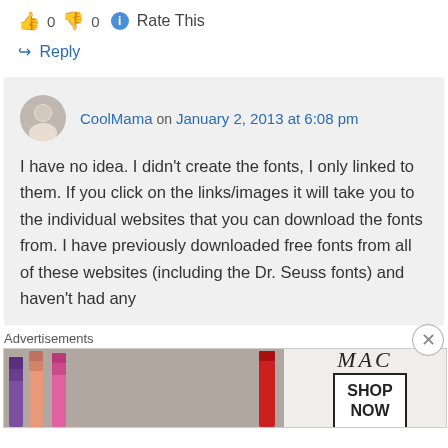👍 0 👎 0 ℹ Rate This
↪ Reply
CoolMama on January 2, 2013 at 6:08 pm
I have no idea. I didn't create the fonts, I only linked to them. If you click on the links/images it will take you to the individual websites that you can download the fonts from. I have previously downloaded free fonts from all of these websites (including the Dr. Seuss fonts) and haven't had any
Advertisements
[Figure (photo): MAC cosmetics advertisement showing lipsticks with SHOP NOW button]